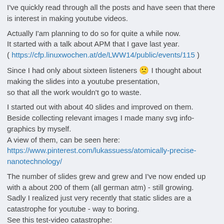I've quickly read through all the posts and have seen that there is interest in making youtube videos.
Actually I'am planning to do so for quite a while now.
It started with a talk about APM that I gave last year.
( https://cfp.linuxwochen.at/de/LWW14/public/events/115 )
Since I had only about sixteen listeners 🙁 I thought about making the slides into a youtube presentation,
so that all the work wouldn't go to waste.
I started out with about 40 slides and improved on them.
Beside collecting relevant images I made many svg info-graphics by myself.
A view of them, can be seen here:
https://www.pinterest.com/lukassuess/atomically-precise-nanotechnology/
The number of slides grew and grew and I've now ended up with a about 200 of them (all german atm) - still growing.
Sadly I realized just very recently that static slides are a catastrophe for youtube - way to boring.
See this test-video catastrophe: https://www.youtube.com/watch?v=-Y60-80X7q4
the same **** in german: https://www.youtube.com/watch?v=JoEHHtI7S38